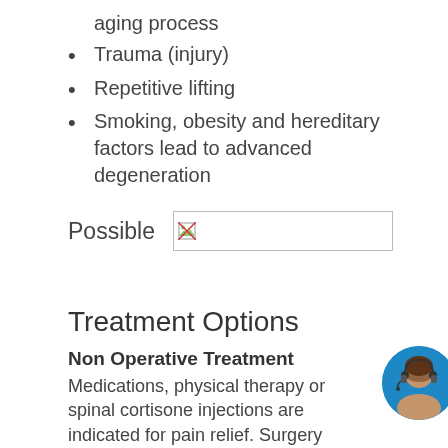aging process
Trauma (injury)
Repetitive lifting
Smoking, obesity and hereditary factors lead to advanced degeneration
Possible
[Figure (photo): Placeholder image box with broken image icon]
Treatment Options
Non Operative Treatment
Medications, physical therapy or spinal cortisone injections are indicated for pain relief. Surgery
[Figure (photo): Avatar image of a woman with headset, circular crop]